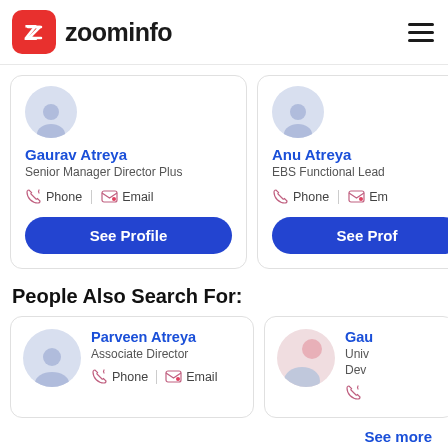[Figure (logo): ZoomInfo logo with red square icon containing white Z and company name text]
Gaurav Atreya
Senior Manager Director Plus
Phone | Email
Anu Atreya
EBS Functional Lead
Phone | Em
People Also Search For:
Parveen Atreya
Associate Director
Phone | Email
Gau
Univ
Dev
See more